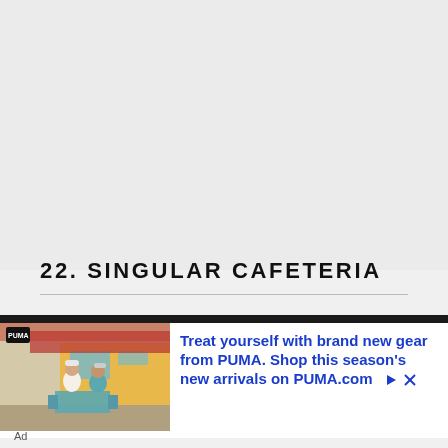22. SINGULAR CAFETERIA
[Figure (photo): Advertisement banner with PUMA branding showing two people sitting on outdoor furniture with text: Treat yourself with brand new gear from PUMA. Shop this season's new arrivals on PUMA.com]
Ad